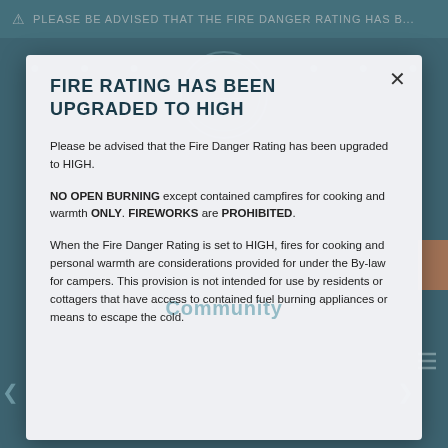⚠ PLEASE BE ADVISED THAT THE FIRE DANGER RATING HAS B...
FIRE RATING HAS BEEN UPGRADED TO HIGH
Please be advised that the Fire Danger Rating has been upgraded to HIGH.
NO OPEN BURNING except contained campfires for cooking and warmth ONLY. FIREWORKS are PROHIBITED.
When the Fire Danger Rating is set to HIGH, fires for cooking and personal warmth are considerations provided for under the By-law for campers. This provision is not intended for use by residents or cottagers that have access to contained fuel burning appliances or means to escape the cold.